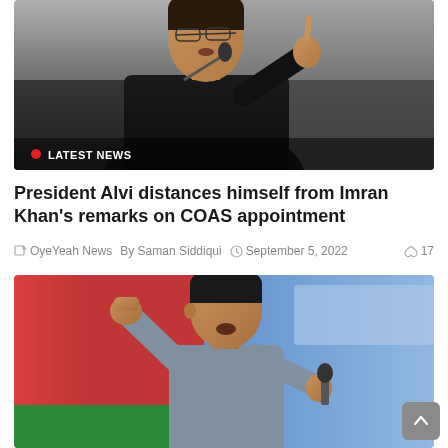[Figure (photo): A man in a black suit gesturing with his hand near a microphone, appears to be giving a speech. 'LATEST NEWS' badge visible at bottom left of image.]
President Alvi distances himself from Imran Khan's remarks on COAS appointment
OyeYeah News  By Saman Siddiqui  September 5, 2022  17
[Figure (photo): A man in a grey traditional outfit raising his fist and holding a microphone, speaking at a rally with red and blue banners in the background.]